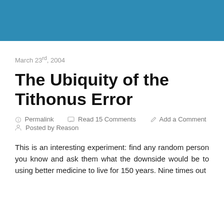[Figure (other): Steel blue header banner at top of page]
March 23rd, 2004
The Ubiquity of the Tithonus Error
🔗 Permalink  💬 Read 15 Comments  ✏️ Add a Comment
👤 Posted by Reason
This is an interesting experiment: find any random person you know and ask them what the downside would be to using better medicine to live for 150 years. Nine times out